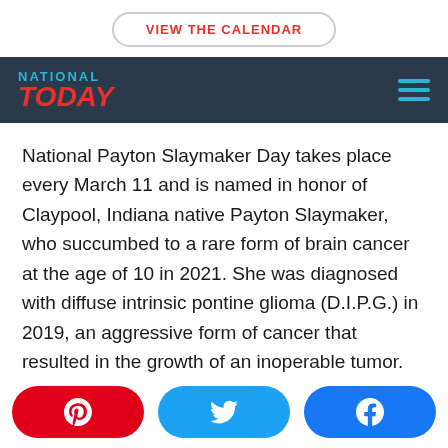VIEW THE CALENDAR
[Figure (logo): National Today logo with hamburger menu on dark navy background]
National Payton Slaymaker Day takes place every March 11 and is named in honor of Claypool, Indiana native Payton Slaymaker, who succumbed to a rare form of brain cancer at the age of 10 in 2021. She was diagnosed with diffuse intrinsic pontine glioma (D.I.P.G.) in 2019, an aggressive form of cancer that resulted in the growth of an inoperable tumor. Her condition and fight against
Pinterest | Twitter | Facebook social share buttons